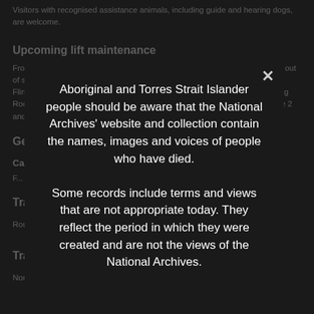Visitors with recognised assistance animals, including guide and hearing dogs, are welcome.
Upcoming lift maintenance
From Monday 1 August the public lift at the Victorian Archives Centre will be out of service for one month due to maintenance works. Visitors entering from Flinders Lane via the car park will still have access to Reception and Reading Room. Otherwise we recommend parking along Shiel Street where there are 2 and 4 hour spaces available and direct entry to Level 3. We a...
Getting here
Ca...
F...
Trams
Route 57 (stop 16), Route 55 (stop 19), Route 59 (stop 19)
Trains
North Melbourne Station or Macaulay Station
[Figure (infographic): Modal dialog overlay with close button (×) displaying a cultural sensitivity warning: 'Aboriginal and Torres Strait Islander people should be aware that the National Archives' website and collection contain the names, images and voices of people who have died. Some records include terms and views that are not appropriate today. They reflect the period in which they were created and are not the views of the National Archives.']